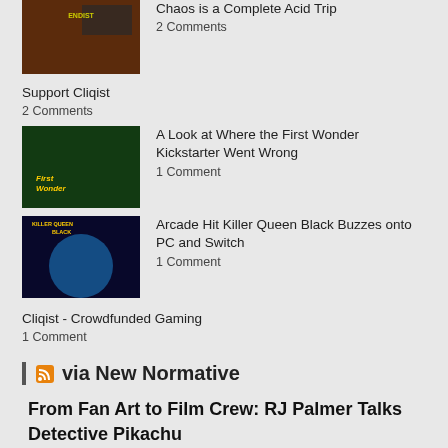Chaos is a Complete Acid Trip
2 Comments
Support Cliqist
2 Comments
A Look at Where the First Wonder Kickstarter Went Wrong
1 Comment
Arcade Hit Killer Queen Black Buzzes onto PC and Switch
1 Comment
Cliqist - Crowdfunded Gaming
1 Comment
via New Normative
From Fan Art to Film Crew: RJ Palmer Talks Detective Pikachu